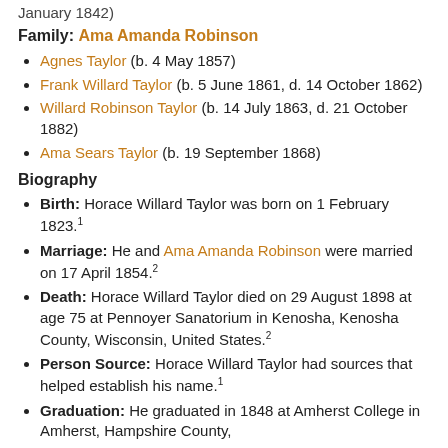January 1842)
Family: Ama Amanda Robinson
Agnes Taylor (b. 4 May 1857)
Frank Willard Taylor (b. 5 June 1861, d. 14 October 1862)
Willard Robinson Taylor (b. 14 July 1863, d. 21 October 1882)
Ama Sears Taylor (b. 19 September 1868)
Biography
Birth: Horace Willard Taylor was born on 1 February 1823.1
Marriage: He and Ama Amanda Robinson were married on 17 April 1854.2
Death: Horace Willard Taylor died on 29 August 1898 at age 75 at Pennoyer Sanatorium in Kenosha, Kenosha County, Wisconsin, United States.2
Person Source: Horace Willard Taylor had sources that helped establish his name.1
Graduation: He graduated in 1848 at Amherst College in Amherst, Hampshire County,